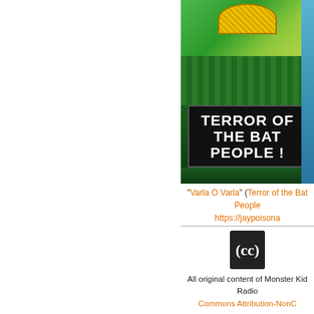[Figure (illustration): Comic book cover illustration showing 'Terror of the Bat People!' text on black background with green and blue comic art]
"Varla O Varla" (Terror of the Bat People) https://jaypoisona...
[Figure (logo): Creative Commons license icon in dark box]
All original content of Monster Kid Radio Commons Attribution-NonC...
Direct download: Episode505.mp3
Category:Monster Kid Radio -- posted at: 5:27am...